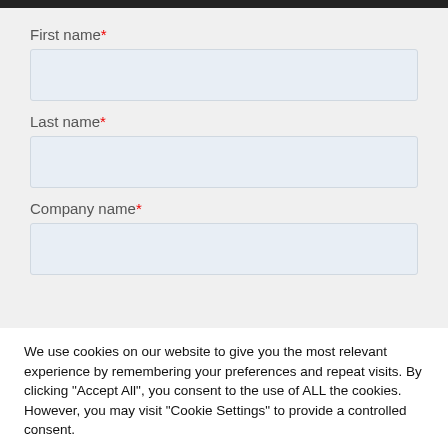First name*
Last name*
Company name*
We use cookies on our website to give you the most relevant experience by remembering your preferences and repeat visits. By clicking "Accept All", you consent to the use of ALL the cookies. However, you may visit "Cookie Settings" to provide a controlled consent.
Cookie Settings
Accept All